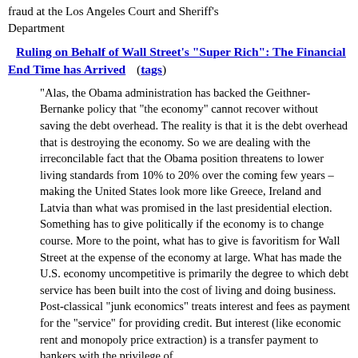fraud at the Los Angeles Court and Sheriff's Department
Ruling on Behalf of Wall Street's "Super Rich": The Financial End Time has Arrived (tags)
"Alas, the Obama administration has backed the Geithner-Bernanke policy that “the economy” cannot recover without saving the debt overhead. The reality is that it is the debt overhead that is destroying the economy. So we are dealing with the irreconcilable fact that the Obama position threatens to lower living standards from 10% to 20% over the coming few years – making the United States look more like Greece, Ireland and Latvia than what was promised in the last presidential election. Something has to give politically if the economy is to change course. More to the point, what has to give is favoritism for Wall Street at the expense of the economy at large. What has made the U.S. economy uncompetitive is primarily the degree to which debt service has been built into the cost of living and doing business. Post-classical “junk economics” treats interest and fees as payment for the “service” for providing credit. But interest (like economic rent and monopoly price extraction) is a transfer payment to bankers with the privilege of